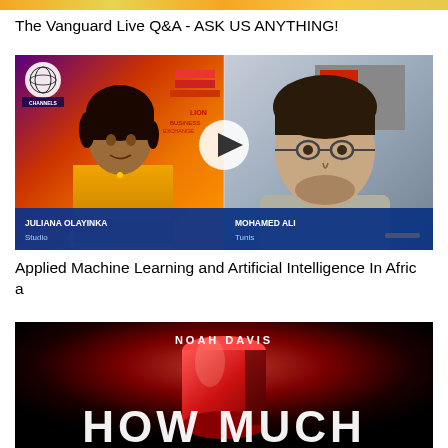The Vanguard Live Q&A - ASK US ANYTHING!
[Figure (screenshot): TV news split-screen showing JULIANA OLAYINKA (Studio) on left wearing yellow jacket, and MOHAMED ALI (Tunis) on right wearing glasses. Play button overlay in center. Channels TV logo visible. Lower thirds show names and locations.]
Applied Machine Learning and Artificial Intelligence In Africa
[Figure (photo): Dark book or movie cover with 'NOAH DAVIS' text and large bold partial text at bottom. Red object in center against dark background.]